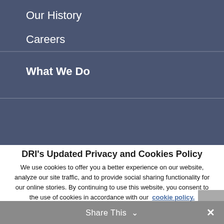Our History
Careers
What We Do
DRI's Updated Privacy and Cookies Policy
We use cookies to offer you a better experience on our website, analyze our site traffic, and to provide social sharing functionality for our online stories. By continuing to use this website, you consent to the use of cookies in accordance with our cookie policy.
Share This ∨  ×